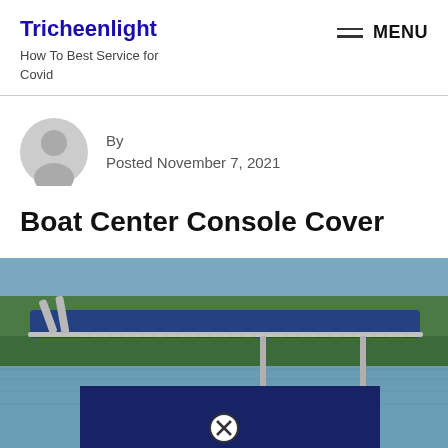Tricheenlight — How To Best Service for Covid
By
Posted November 7, 2021
Boat Center Console Cover
[Figure (photo): A boat with a center console T-top cover in blue, with rod holders, on a lake with trees in the background. A close button (X in circle) is visible at the bottom center of the image.]